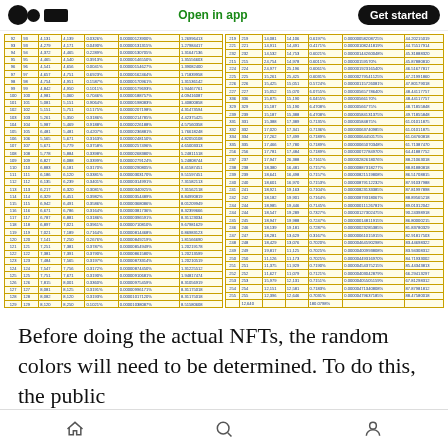Medium app bar: Open in app | Get started
| # | # | val1 | val2 | pct1 | sci_val | computed | # | # | val3 | val4 | pct2 | sci_val2 | computed2 |
| --- | --- | --- | --- | --- | --- | --- | --- | --- | --- | --- | --- | --- | --- |
| 92 | 93 | 4,131 | 4,130 | 0.0326% | 0.000001239009% | 1.26996411 | 219 | 219 | 14,081 | 14,106 | 0.6197% | 0.00000058208725% | 44.20215019 |
| 93 | 93 | 4,279 | 4,171 | 0.0490% | 0.000001351315% | 1.27984417 | 221 | 221 | 14,911 | 14,491 | 0.4171% | 0.00000108241819% | 44.75517914 |
| 94 | 94 | 4,372 | 4,465 | 0.2289% | 0.000001307054% | 1.31647136 | 232 | 232 | 14,532 | 14,753 | 0.6021% | 0.00000144260048% | 45.31888320 |
Before doing the actual NFTs, the random colors will need to be determined. To do this, the public
Home | Search | Profile